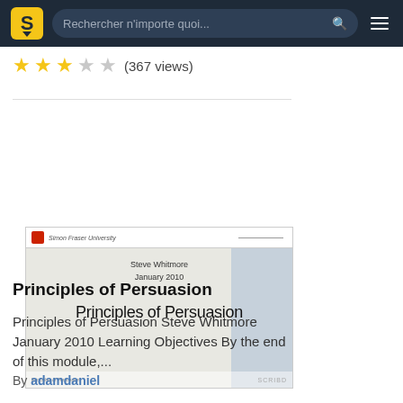Rechercher n'importe quoi...
★★★☆☆ (367 views)
[Figure (screenshot): Screenshot of a Scribd document preview page showing a slide titled 'Principles of Persuasion' by Steve Whitmore, January 2010, from Simon Fraser University]
Principles of Persuasion
Principles of Persuasion Steve Whitmore January 2010 Learning Objectives By the end of this module,...
By adamdaniel